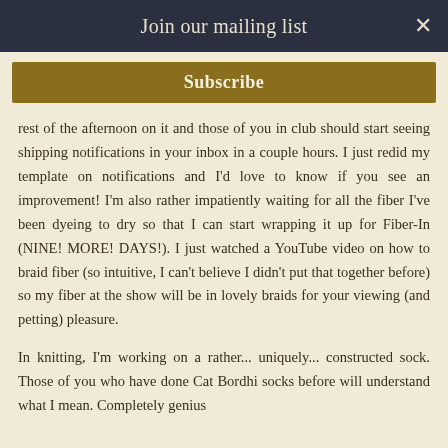Join our mailing list
Subscribe
rest of the afternoon on it and those of you in club should start seeing shipping notifications in your inbox in a couple hours. I just redid my template on notifications and I'd love to know if you see an improvement! I'm also rather impatiently waiting for all the fiber I've been dyeing to dry so that I can start wrapping it up for Fiber-In (NINE! MORE! DAYS!). I just watched a YouTube video on how to braid fiber (so intuitive, I can't believe I didn't put that together before) so my fiber at the show will be in lovely braids for your viewing (and petting) pleasure.
In knitting, I'm working on a rather... uniquely... constructed sock. Those of you who have done Cat Bordhi socks before will understand what I mean. Completely genius